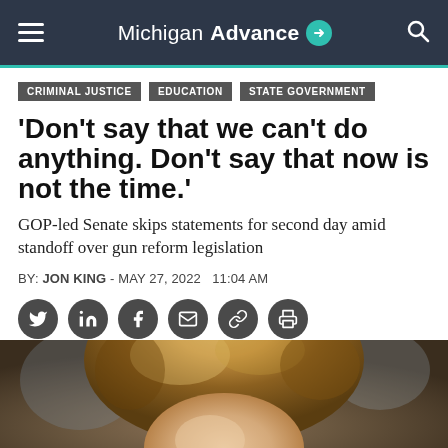Michigan Advance
CRIMINAL JUSTICE
EDUCATION
STATE GOVERNMENT
‘Don’t say that we can’t do anything. Don’t say that now is not the time.’
GOP-led Senate skips statements for second day amid standoff over gun reform legislation
BY: JON KING - MAY 27, 2022   11:04 AM
[Figure (photo): Partial view of a person with brown/blonde hair, likely a politician or public figure, photographed indoors.]